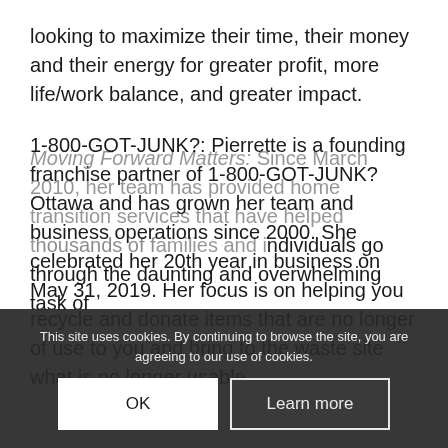looking to maximize their time, their money and their energy for greater profit, more life/work balance, and greater impact.
1-800-GOT-JUNK?: Pierrette is a founding franchise partner of 1-800-GOT-JUNK? Ottawa and has grown her team and business operations since 2000. She celebrated her 20th year in business on May 31, 2019. Her focus is on helping you recycle and donate items that are no longer of use to you and bring to the waste site what is no longer usable.
Moving Forward Matters: Since March 2010, her team has provided home transition services that have helped thousands of families and individuals go through the daunting and overwhelming task of
This site uses cookies. By continuing to browse the site, you are agreeing to our use of cookies.